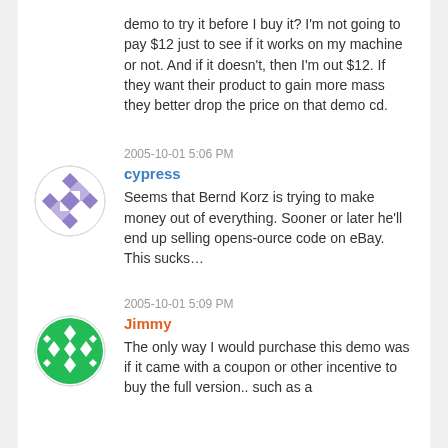demo to try it before I buy it? I'm not going to pay $12 just to see if it works on my machine or not. And if it doesn't, then I'm out $12. If they want their product to gain more mass they better drop the price on that demo cd.
2005-10-01 5:06 PM
cypress
Seems that Bernd Korz is trying to make money out of everything. Sooner or later he'll end up selling opens-ource code on eBay. This sucks...
2005-10-01 5:09 PM
Jimmy
The only way I would purchase this demo was if it came with a coupon or other incentive to buy the full version.. such as a